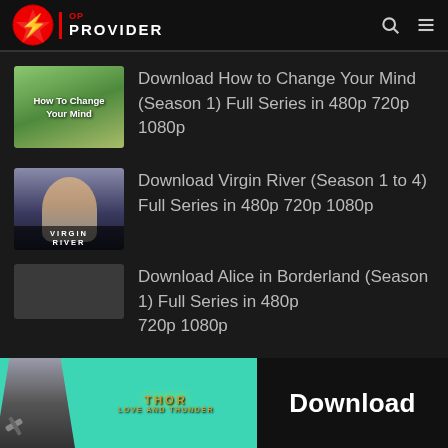OP Provider
Download How to Change Your Mind (Season 1) Full Series in 480p 720p 1080p
Download Virgin River (Season 1 to 4) Full Series in 480p 720p 1080p
Download Alice in Borderland (Season 1) Full Series in 480p 720p 1080p
[Figure (illustration): Thor Love and Thunder promotional banner ad with Thor figure, logo, and Download button]